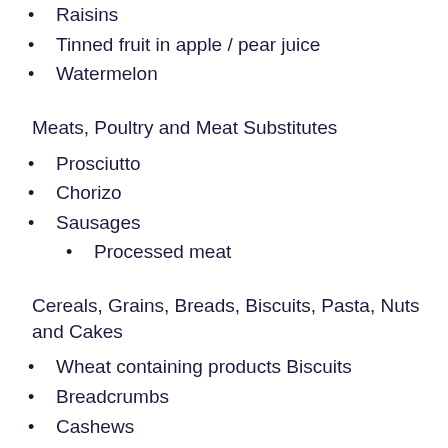Raisins
Tinned fruit in apple / pear juice
Watermelon
Meats, Poultry and Meat Substitutes
Prosciutto
Chorizo
Sausages
Processed meat
Cereals, Grains, Breads, Biscuits, Pasta, Nuts and Cakes
Wheat containing products Biscuits
Breadcrumbs
Cashews
Cakes
Croissants